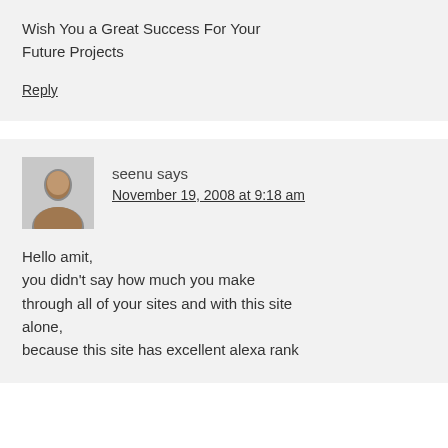Wish You a Great Success For Your Future Projects
Reply
seenu says
November 19, 2008 at 9:18 am
Hello amit,
you didn't say how much you make through all of your sites and with this site alone,
because this site has excellent alexa rank